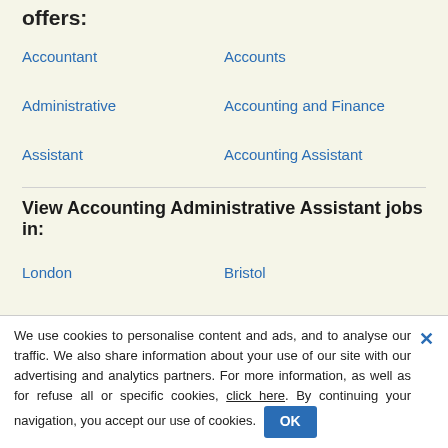offers:
Accountant
Accounts
Administrative
Accounting and Finance
Assistant
Accounting Assistant
View Accounting Administrative Assistant jobs in:
London
Bristol
Manchester
Leeds
We use cookies to personalise content and ads, and to analyse our traffic. We also share information about your use of our site with our advertising and analytics partners. For more information, as well as for refuse all or specific cookies, click here. By continuing your navigation, you accept our use of cookies. OK